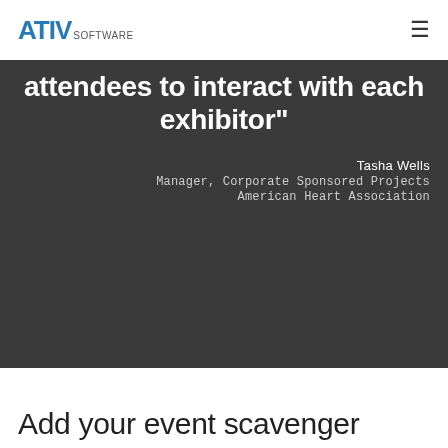ATIV SOFTWARE
attendees to interact with each exhibitor"
Tasha Wells
Manager, Corporate Sponsored Projects
American Heart Association
Add your event scavenger